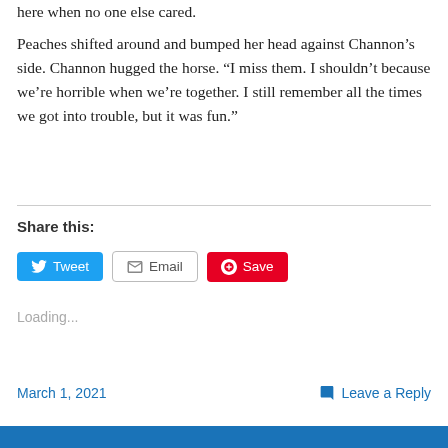here when no one else cared.
Peaches shifted around and bumped her head against Channon’s side. Channon hugged the horse. “I miss them. I shouldn’t because we’re horrible when we’re together. I still remember all the times we got into trouble, but it was fun.”
Share this:
Loading...
March 1, 2021
Leave a Reply